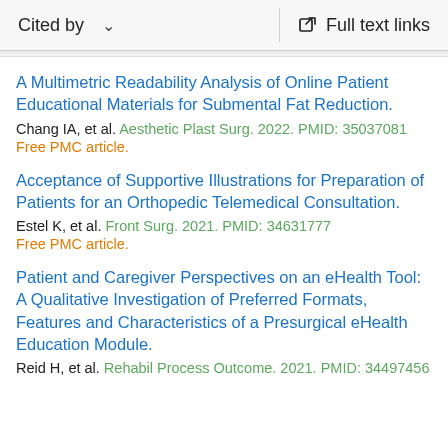Cited by   ∨   Full text links
A Multimetric Readability Analysis of Online Patient Educational Materials for Submental Fat Reduction.
Chang IA, et al. Aesthetic Plast Surg. 2022. PMID: 35037081
Free PMC article.
Acceptance of Supportive Illustrations for Preparation of Patients for an Orthopedic Telemedical Consultation.
Estel K, et al. Front Surg. 2021. PMID: 34631777
Free PMC article.
Patient and Caregiver Perspectives on an eHealth Tool: A Qualitative Investigation of Preferred Formats, Features and Characteristics of a Presurgical eHealth Education Module.
Reid H, et al. Rehabil Process Outcome. 2021. PMID: 34497456